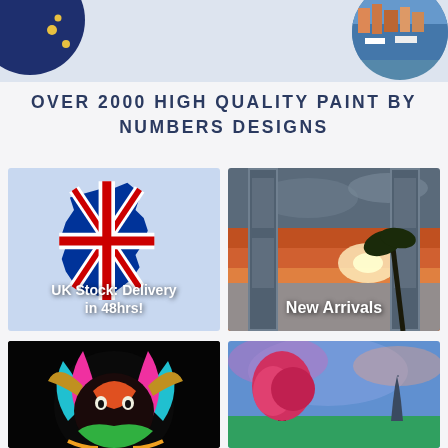[Figure (illustration): Top banner with dark blue circle and gold dots on left, and circular photo of a colorful European town/marina on the right, on light blue-grey background]
OVER 2000 HIGH QUALITY PAINT BY NUMBERS DESIGNS
[Figure (illustration): UK map filled with Union Jack flag on light blue background, with text 'UK Stock: Delivery in 48hrs!']
[Figure (photo): Open wooden door leading to a beach sunset scene, with text 'New Arrivals']
[Figure (photo): Colorful detailed painting of a ram/sheep head with vibrant feathers and colors on black background]
[Figure (photo): Colorful painting with pink/red tree and Eiffel Tower in background with vivid sky]